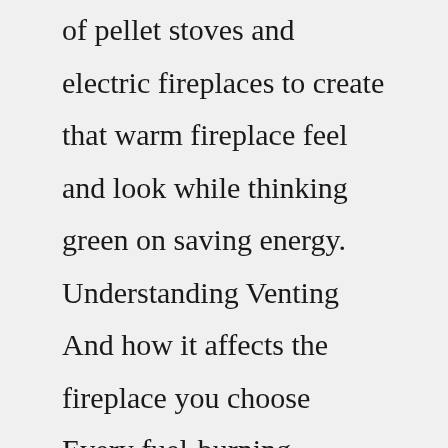of pellet stoves and electric fireplaces to create that warm fireplace feel and look while thinking green on saving energy. Understanding Venting And how it affects the fireplace you choose Every fuel-burning fireplace or stove must be vented to the outside of your home. This is a critical yet often overlooked element when purchasing a heating device. The correct materials and proper installation are essential, or the safety of your home and family is at